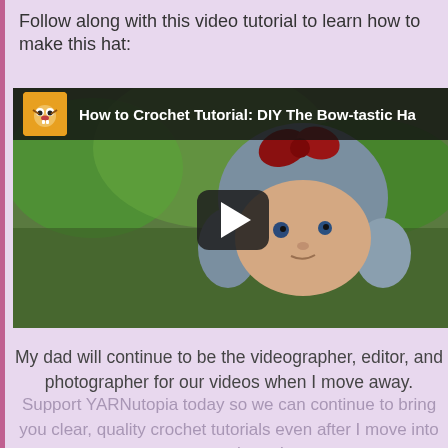Follow along with this video tutorial to learn how to make this hat:
[Figure (screenshot): YouTube video thumbnail showing a baby wearing a crocheted bow-tastic hat, with the video title 'How to Crochet Tutorial: DIY The Bow-tastic Ha' partially visible in the top bar, a channel icon (cartoon tiger face), and a play button overlay in the center.]
My dad will continue to be the videographer, editor, and photographer for our videos when I move away.
Support YARNutopia today so we can continue to bring you clear, quality crochet tutorials even after I move into my new home! There will be an added expense of more travel and hopefully this won't deter our ability to provide